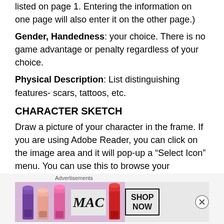listed on page 1. Entering the information on one page will also enter it on the other page.)
Gender, Handedness: your choice. There is no game advantage or penalty regardless of your choice.
Physical Description: List distinguishing features- scars, tattoos, etc.
CHARACTER SKETCH
Draw a picture of your character in the frame. If you are using Adobe Reader, you can click on the image area and it will pop-up a “Select Icon” menu. You can use this to browse your computer for an image to place in this area. There are many good character sketches available on-line. The image must be in PDF file format. There are free
[Figure (illustration): MAC cosmetics advertisement banner showing lipsticks on the left, MAC logo in the middle, and a SHOP NOW box on the right. Label 'Advertisements' appears above it.]